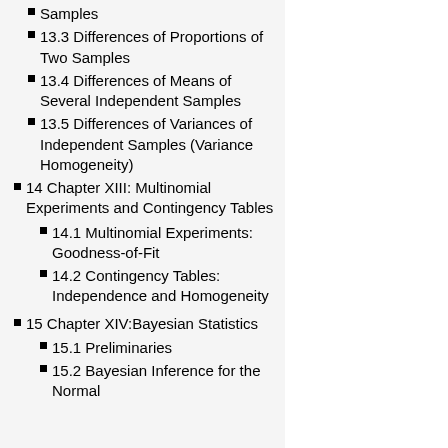13.3 Differences of Proportions of Two Samples
13.4 Differences of Means of Several Independent Samples
13.5 Differences of Variances of Independent Samples (Variance Homogeneity)
14 Chapter XIII: Multinomial Experiments and Contingency Tables
14.1 Multinomial Experiments: Goodness-of-Fit
14.2 Contingency Tables: Independence and Homogeneity
15 Chapter XIV:Bayesian Statistics
15.1 Preliminaries
15.2 Bayesian Inference for the Normal